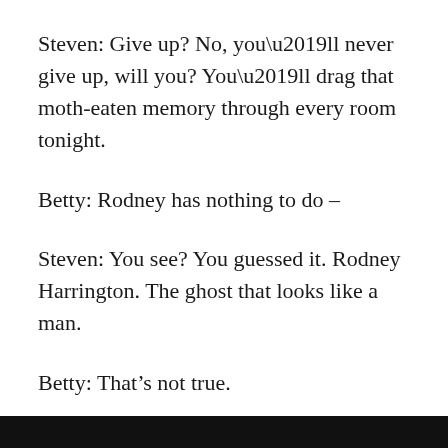Steven: Give up? No, you’ll never give up, will you? You’ll drag that moth-eaten memory through every room tonight.
Betty: Rodney has nothing to do –
Steven: You see? You guessed it. Rodney Harrington. The ghost that looks like a man.
Betty: That’s not true.
Steven: Isn’t it? The closer to the castle we get, the louder his sword clanks. I never realized ghosts could take up so much room.